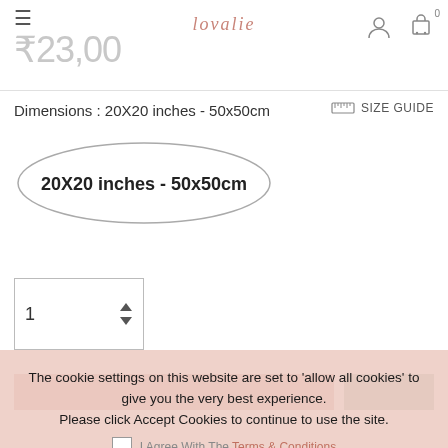₹23,00 | logo | user | cart 0
Dimensions : 20X20 inches - 50x50cm
SIZE GUIDE
20X20 inches - 50x50cm
1 (quantity)
The cookie settings on this website are set to 'allow all cookies' to give you the very best experience. Please click Accept Cookies to continue to use the site.
I Agree With The Terms & Conditions
PRIVACY POLICY  ACCEPT ✔